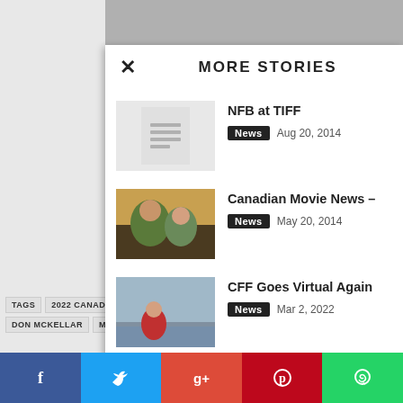MORE STORIES
NFB at TIFF | News | Aug 20, 2014
Canadian Movie News – | News | May 20, 2014
CFF Goes Virtual Again | News | Mar 2, 2022
TAGS  2022 CANADI...  DON MCKELLAR  MC...